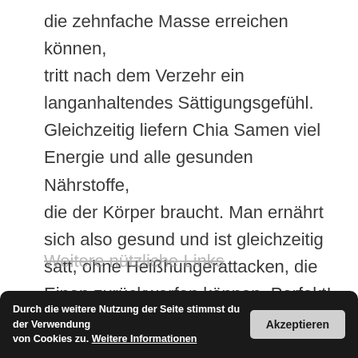die zehnfache Masse erreichen können, tritt nach dem Verzehr ein langanhaltendes Sättigungsgefühl. Gleichzeitig liefern Chia Samen viel Energie und alle gesunden Nährstoffe, die der Körper braucht. Man ernährt sich also gesund und ist gleichzeitig satt, ohne Heißhungerattacken, die Einen zurückwerfen können. Perfekt!
Weitere nützliche Links
Chia Samen
Durch die weitere Nutzung der Seite stimmst du der Verwendung von Cookies zu. Weitere Informationen